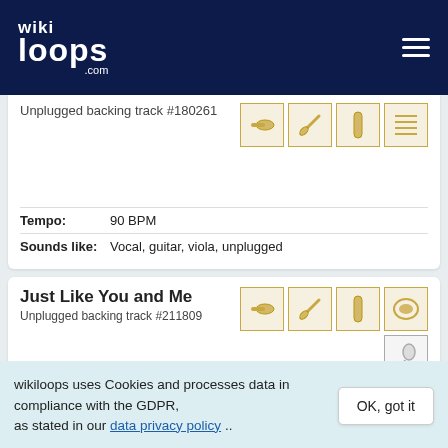wikiloops.com
Unplugged backing track #180261
Tempo: 90 BPM
Sounds like: Vocal, guitar, viola, unplugged
Just Like You and Me
Unplugged backing track #211809
Meter: 4/4
wikiloops uses Cookies and processes data in compliance with the GDPR, as stated in our data privacy policy ..